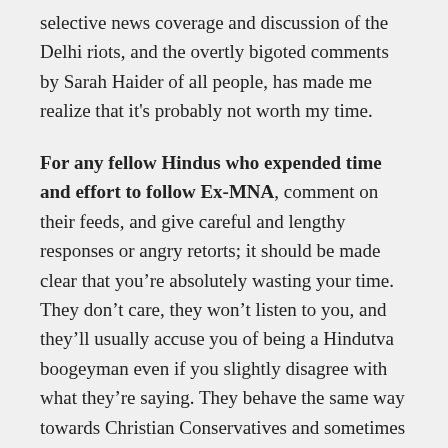selective news coverage and discussion of the Delhi riots, and the overtly bigoted comments by Sarah Haider of all people, has made me realize that it's probably not worth my time.
For any fellow Hindus who expended time and effort to follow Ex-MNA, comment on their feeds, and give careful and lengthy responses or angry retorts; it should be made clear that you're absolutely wasting your time. They don't care, they won't listen to you, and they'll usually accuse you of being a Hindutva boogeyman even if you slightly disagree with what they're saying. They behave the same way towards Christian Conservatives and sometimes Western Atheists who support Secular causes (judging from the positive responses I received in my criticism of them on Twitter), so it's not just Hindus.